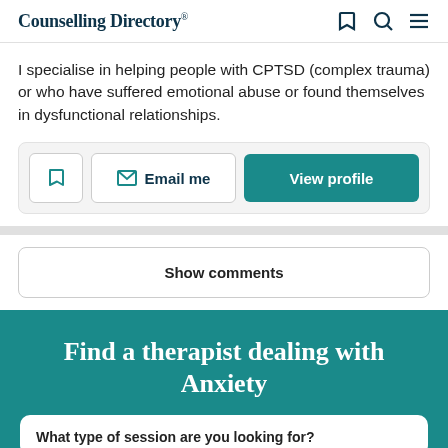Counselling Directory
I specialise in helping people with CPTSD (complex trauma) or who have suffered emotional abuse or found themselves in dysfunctional relationships.
Email me
View profile
Show comments
Find a therapist dealing with Anxiety
What type of session are you looking for?